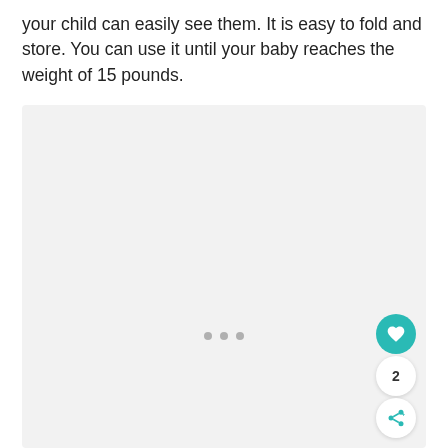your child can easily see them. It is easy to fold and store. You can use it until your baby reaches the weight of 15 pounds.
[Figure (photo): Light gray placeholder image area with three small gray dots near the bottom center, representing a loading or blank image panel. A teal heart/like button, a count of '2', and a share button appear in the bottom-right corner.]